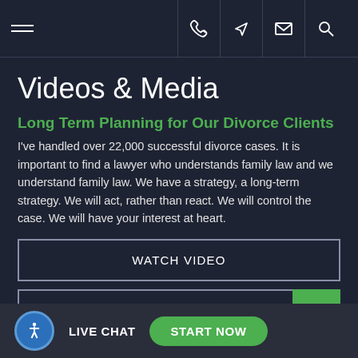Videos & Media — navigation bar with hamburger menu and icons: phone, location, email, search
Videos & Media
Long Term Planning for Our Divorce Clients
I've handled over 22,000 successful divorce cases. It is important to find a lawyer who understands family law and we understand family law. We have a strategy, a long-term strategy. We will act, rather than react. We will control the case. We will have your interest at heart.
WATCH VIDEO
SEE ALL VIDEOS
LIVE CHAT   START NOW